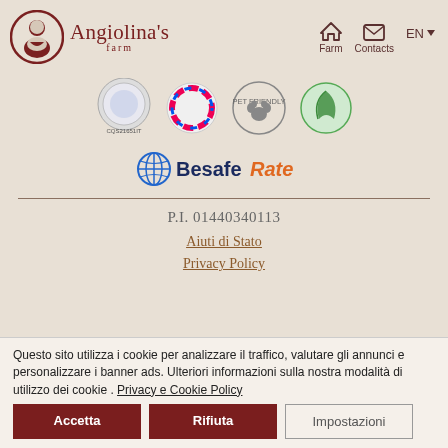[Figure (logo): Angiolina's Farm logo with circular avatar icon on left and stylized text 'Angiolina’s farm' in dark red on right]
[Figure (logo): Navigation icons: house icon labeled Farm, envelope icon labeled Contacts, EN language selector with dropdown arrow]
[Figure (logo): Four certification/badge logos in a row: CQS21651IT quality badge, colorful globe badge, pet-friendly paw badge, green eco badge]
[Figure (logo): BeSafe Rate logo with globe icon in blue/orange and text 'Besafe Rate' in dark blue and orange]
P.I. 01440340113
Aiuti di Stato
Privacy Policy
Questo sito utilizza i cookie per analizzare il traffico, valutare gli annunci e personalizzare i banner ads. Ulteriori informazioni sulla nostra modalità di utilizzo dei cookie . Privacy e Cookie Policy
Accetta
Rifiuta
Impostazioni